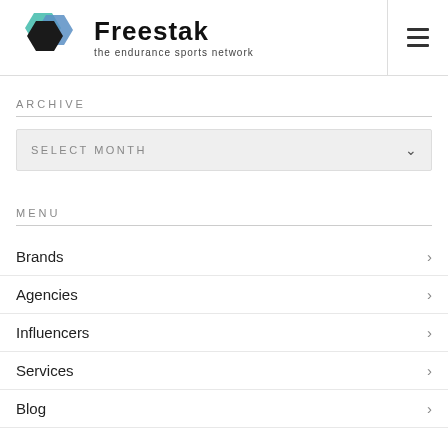[Figure (logo): Freestak logo with hexagon shapes in teal/blue/black and text 'Freestak the endurance sports network']
ARCHIVE
SELECT MONTH
MENU
Brands
Agencies
Influencers
Services
Blog